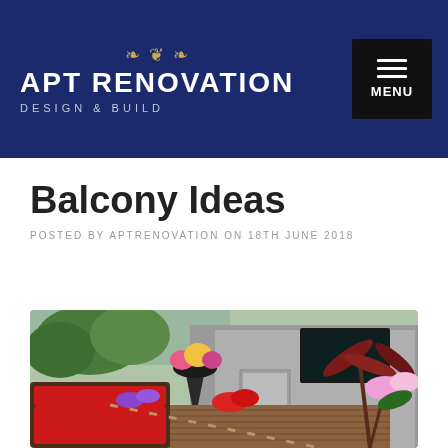[Figure (logo): APT Renovation Design & Build logo with ornamental decoration on dark navy blue header background, with a hamburger menu button on the right]
Balcony Ideas
POSTED BY APTRENOVATION ON 18TH JUNE 2018
[Figure (photo): Rooftop balcony with red cushioned wicker furniture, wooden deck, colorful potted flowers, tropical plants, and a wall-mounted TV on a grey wall in the background]